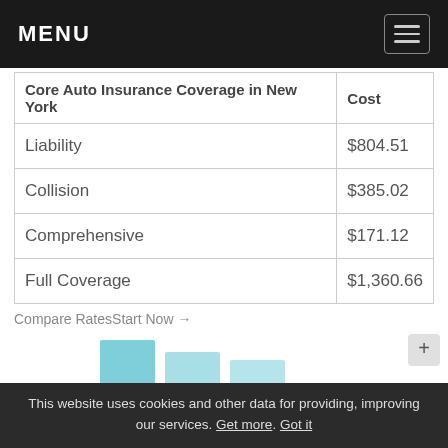MENU
| Core Auto Insurance Coverage in New York | Cost |
| --- | --- |
| Liability | $804.51 |
| Collision | $385.02 |
| Comprehensive | $171.12 |
| Full Coverage | $1,360.66 |
Compare RatesStart Now →
Average Monthly Auto Insurance Rates by State
State-by-state comparison of average monthly auto insurance rates in the U.S.
[Figure (bar-chart): Partial bar chart showing average monthly auto insurance rates by state, only top portions of bars visible]
This website uses cookies and other data for providing, improving our services. Get more. Got it